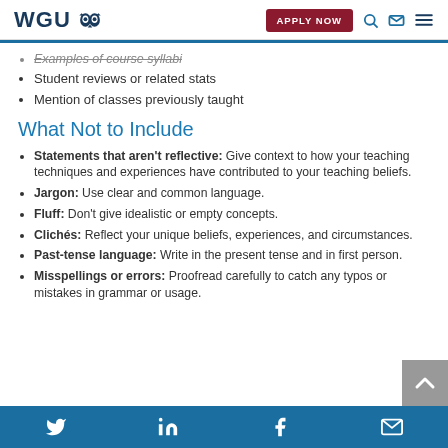WGU | APPLY NOW
Examples of course syllabi (partial, strikethrough)
Student reviews or related stats
Mention of classes previously taught
What Not to Include
Statements that aren't reflective: Give context to how your teaching techniques and experiences have contributed to your teaching beliefs.
Jargon: Use clear and common language.
Fluff: Don't give idealistic or empty concepts.
Clichés: Reflect your unique beliefs, experiences, and circumstances.
Past-tense language: Write in the present tense and in first person.
Misspellings or errors: Proofread carefully to catch any typos or mistakes in grammar or usage.
Twitter | LinkedIn | Facebook | Email